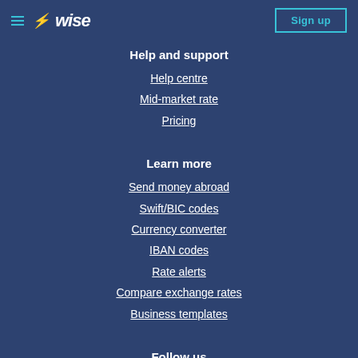Wise — Sign up
Help and support
Help centre
Mid-market rate
Pricing
Learn more
Send money abroad
Swift/BIC codes
Currency converter
IBAN codes
Rate alerts
Compare exchange rates
Business templates
Follow us
[Figure (infographic): Social media icons: Facebook, Twitter, Instagram, YouTube]